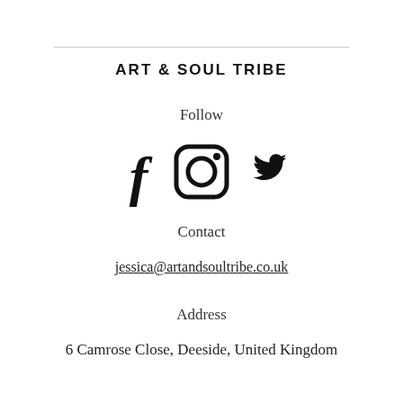ART & SOUL TRIBE
Follow
[Figure (illustration): Three social media icons: Facebook (f), Instagram (camera/circle), Twitter (bird), displayed horizontally centered in black.]
Contact
jessica@artandsoultribe.co.uk
Address
6 Camrose Close, Deeside, United Kingdom